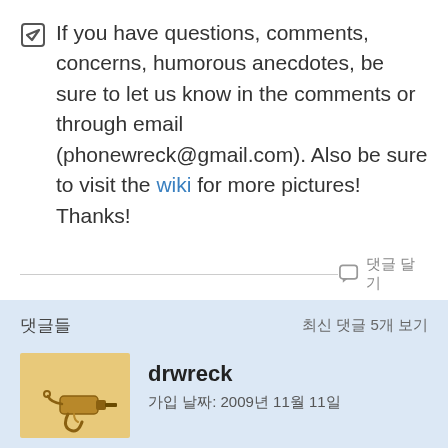If you have questions, comments, concerns, humorous anecdotes, be sure to let us know in the comments or through email (phonewreck@gmail.com). Also be sure to visit the wiki for more pictures! Thanks!
댓글 달기
댓글들
최신 댓글 5개 보기
drwreck
가입 날짜: 2009년 11월 11일